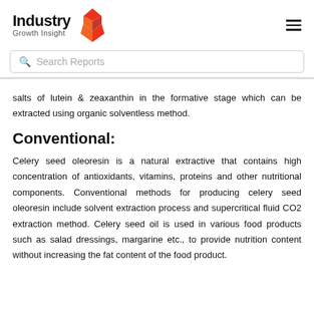Industry Growth Insight
salts of lutein & zeaxanthin in the formative stage which can be extracted using organic solventless method.
Conventional:
Celery seed oleoresin is a natural extractive that contains high concentration of antioxidants, vitamins, proteins and other nutritional components. Conventional methods for producing celery seed oleoresin include solvent extraction process and supercritical fluid CO2 extraction method. Celery seed oil is used in various food products such as salad dressings, margarine etc., to provide nutrition content without increasing the fat content of the food product.